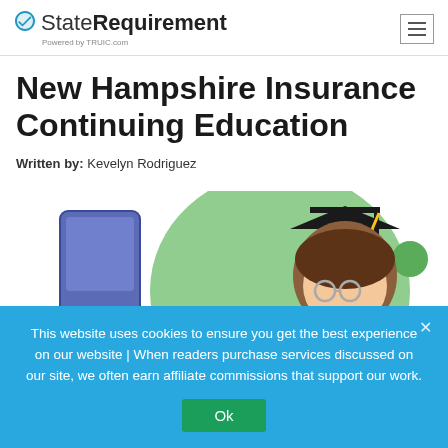StateRequirement - Powered by TRUIC.com
New Hampshire Insurance Continuing Education
Written by: Kevelyn Rodriguez
[Figure (illustration): Illustration of a student figure wearing a graduation cap, with NH state outline graphic on the left, on a green circular background]
This website uses cookies to ensure you get the best experience on our website | When readers purchase services discussed on our site, we often earn affiliate commissions that support our work.